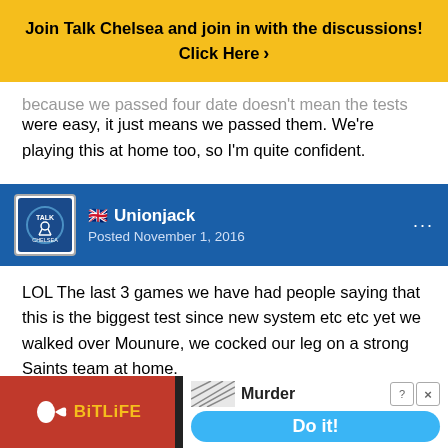[Figure (infographic): Yellow banner advertisement for Talk Chelsea forum: 'Join Talk Chelsea and join in with the discussions! Click Here >']
because we passed four date doesn't mean the tests were easy, it just means we passed them. We're playing this at home too, so I'm quite confident.
Unionjack — Posted November 1, 2016
LOL The last 3 games we have had people saying that this is the biggest test since new system etc etc yet we walked over Mounure, we cocked our leg on a strong Saints team at home.

I dont want us to go in like Billy Big Bollox and not think owt ab... ard swag d...
[Figure (infographic): Advertisement overlay: BitLife game ad on left (red background with sperm logo and yellow BitLife text), Murder game ad on right with 'Do it!' blue button]